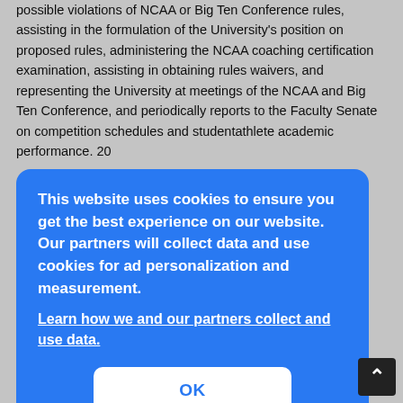possible violations of NCAA or Big Ten Conference rules, assisting in the formulation of the University's position on proposed rules, administering the NCAA coaching certification examination, assisting in obtaining rules waivers, and representing the University at meetings of the NCAA and Big Ten Conference, and periodically reports to the Faculty Senate on competition schedules and studentathlete academic performance. 20
2.
Code of Conduct for Intercollegiate Athletics.
...d ...n ...d by ...k to ...g its ...e to ...men
circulated for comment to the Athletics Integrity Council and the Free...
[Figure (screenshot): Cookie consent modal overlay with blue background. Text reads: 'This website uses cookies to ensure you get the best experience on our website. Our partners will collect data and use cookies for ad personalization and measurement.' Followed by a link 'Learn how we and our partners collect and use data.' and an OK button.]